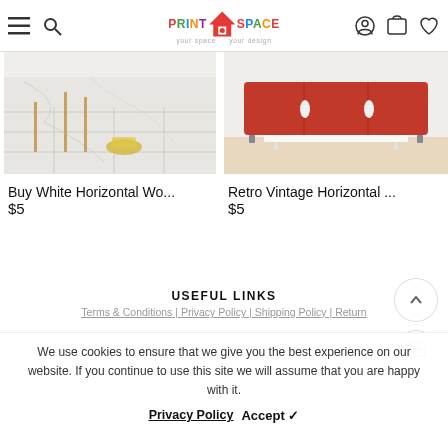PrintSpace — your space your design (navigation header with menu, search, logo, account, cart, wishlist icons)
[Figure (photo): Product image for Buy White Horizontal Wo... — white/grey marble floor interior scene]
Buy White Horizontal Wo...
$5
[Figure (photo): Product image for Retro Vintage Horizontal ... — red sofa retro interior scene]
Retro Vintage Horizontal ...
$5
USEFUL LINKS
Terms & Conditions | Privacy Policy | Shipping Policy | Return Policy | ... (footer links, partially visible/cropped)
We use cookies to ensure that we give you the best experience on our website. If you continue to use this site we will assume that you are happy with it.
Privacy Policy   Accept ✓